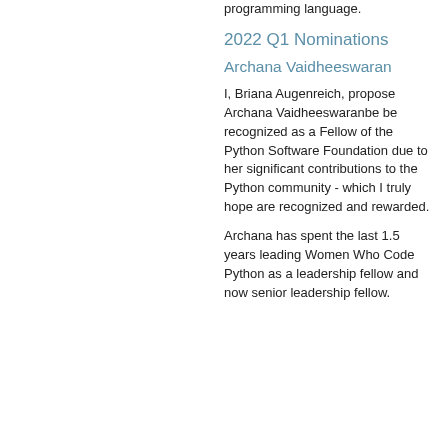programming language.
2022 Q1 Nominations
Archana Vaidheeswaran
I, Briana Augenreich, propose Archana Vaidheeswaranbe be recognized as a Fellow of the Python Software Foundation due to her significant contributions to the Python community - which I truly hope are recognized and rewarded.
Archana has spent the last 1.5 years leading Women Who Code Python as a leadership fellow and now senior leadership fellow.